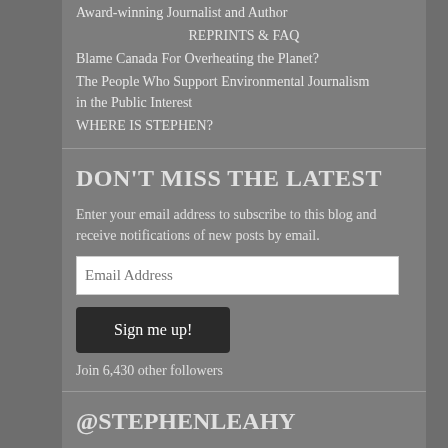Award-winning Journalist and Author
REPRINTS & FAQ
Blame Canada For Overheating the Planet?
The People Who Support Environmental Journalism in the Public Interest
WHERE IS STEPHEN?
DON'T MISS THE LATEST
Enter your email address to subscribe to this blog and receive notifications of new posts by email.
Email Address
Sign me up!
Join 6,430 other followers
@STEPHENLEAHY
My Tweets